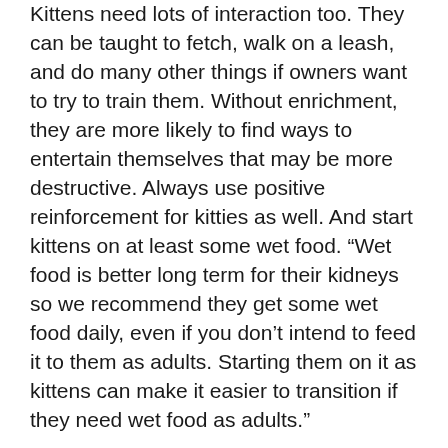Kittens need lots of interaction too. They can be taught to fetch, walk on a leash, and do many other things if owners want to try to train them. Without enrichment, they are more likely to find ways to entertain themselves that may be more destructive. Always use positive reinforcement for kitties as well. And start kittens on at least some wet food. “Wet food is better long term for their kidneys so we recommend they get some wet food daily, even if you don’t intend to feed it to them as adults. Starting them on it as kittens can make it easier to transition if they need wet food as adults.”